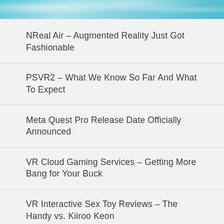[Figure (photo): Teal/light blue header image with snowy or icy texture background]
NReal Air – Augmented Reality Just Got Fashionable
PSVR2 – What We Know So Far And What To Expect
Meta Quest Pro Release Date Officially Announced
VR Cloud Gaming Services – Getting More Bang for Your Buck
VR Interactive Sex Toy Reviews – The Handy vs. Kiiroo Keon
Decentraland – The Metaverse Is